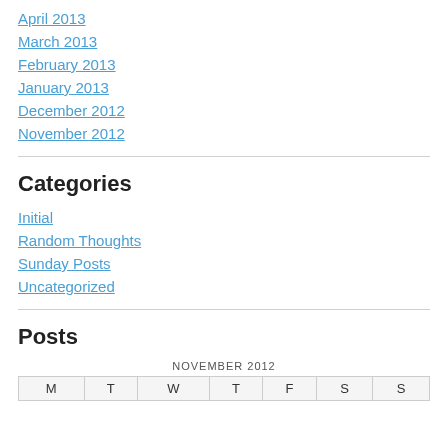April 2013
March 2013
February 2013
January 2013
December 2012
November 2012
Categories
Initial
Random Thoughts
Sunday Posts
Uncategorized
Posts
| M | T | W | T | F | S | S |
| --- | --- | --- | --- | --- | --- | --- |